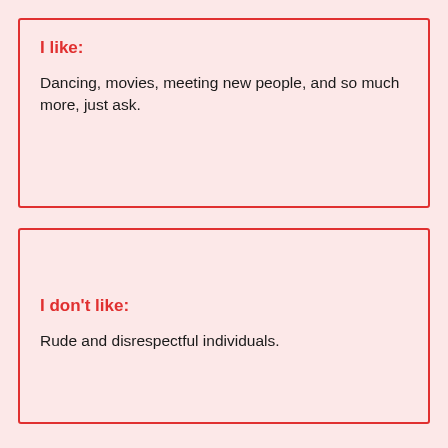I like:
Dancing, movies, meeting new people, and so much more, just ask.
I don't like:
Rude and disrespectful individuals.